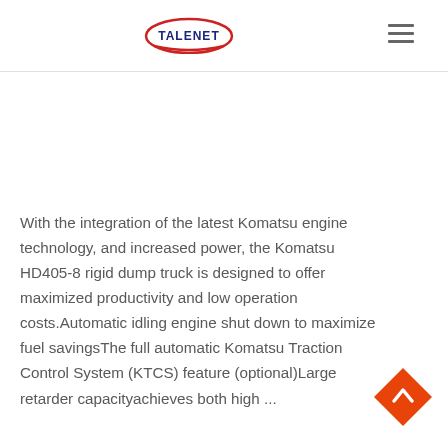TALENET [logo with hamburger menu]
With the integration of the latest Komatsu engine technology, and increased power, the Komatsu HD405-8 rigid dump truck is designed to offer maximized productivity and low operation costs.Automatic idling engine shut down to maximize fuel savingsThe full automatic Komatsu Traction Control System (KTCS) feature (optional)Large retarder capacityachieves both high ...